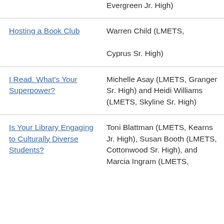| Title | Author/Affiliation |
| --- | --- |
| (link) [continued from above] | Evergreen Jr. High) |
| Hosting a Book Club | Warren Child (LMETS, Cyprus Sr. High) |
| I Read. What's Your Superpower? | Michelle Asay (LMETS, Granger Sr. High) and Heidi Williams (LMETS, Skyline Sr. High) |
| Is Your Library Engaging to Culturally Diverse Students? | Toni Blattman (LMETS, Kearns Jr. High), Susan Booth (LMETS, Cottonwood Sr. High), and Marcia Ingram (LMETS, |